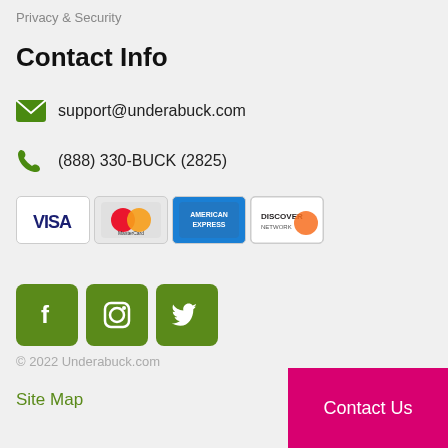Privacy & Security
Contact Info
support@underabuck.com
(888) 330-BUCK (2825)
[Figure (illustration): Payment method icons: VISA, MasterCard, American Express, Discover]
[Figure (illustration): Social media buttons: Facebook, Instagram, Twitter (green rounded square icons)]
© 2022 Underabuck.com
Site Map
Contact Us